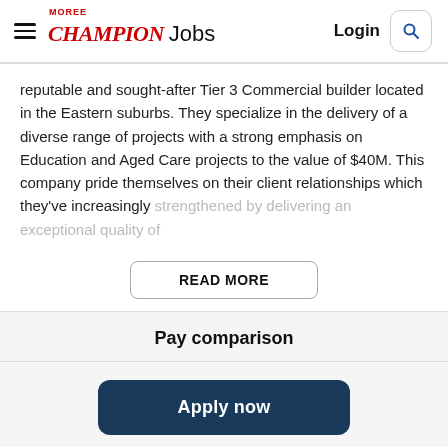Moree Champion Jobs — Login [search icon]
reputable and sought-after Tier 3 Commercial builder located in the Eastern suburbs. They specialize in the delivery of a diverse range of projects with a strong emphasis on Education and Aged Care projects to the value of $40M. This company pride themselves on their client relationships which they've increasingly strengthened by delivering an exceptional quality of
READ MORE
Pay comparison
Apply now